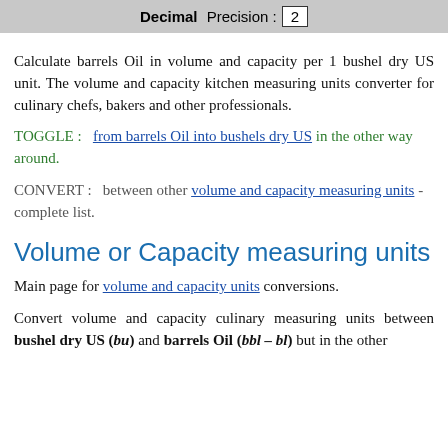Decimal Precision : 2
Calculate barrels Oil in volume and capacity per 1 bushel dry US unit. The volume and capacity kitchen measuring units converter for culinary chefs, bakers and other professionals.
TOGGLE : from barrels Oil into bushels dry US in the other way around.
CONVERT : between other volume and capacity measuring units - complete list.
Volume or Capacity measuring units
Main page for volume and capacity units conversions.
Convert volume and capacity culinary measuring units between bushel dry US (bu) and barrels Oil (bbl – bl) but in the other